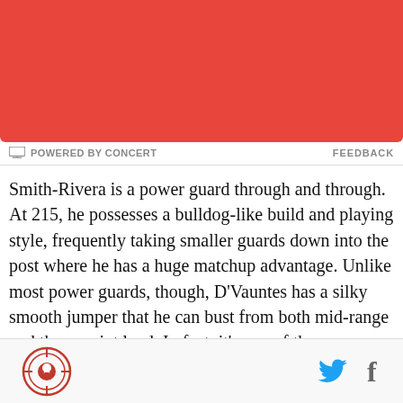[Figure (photo): Red/coral colored banner image at top of page]
POWERED BY CONCERT   FEEDBACK
Smith-Rivera is a power guard through and through. At 215, he possesses a bulldog-like build and playing style, frequently taking smaller guards down into the post where he has a huge matchup advantage. Unlike most power guards, though, D'Vauntes has a silky smooth jumper that he can bust from both mid-range and three-point land. In fact, it's one of the technically better shot releases I've seen in that he's straight up and down with his legs and torso, doesn't jump too high, and has a beautiful finishing stroke. These are
Logo | Twitter | Facebook